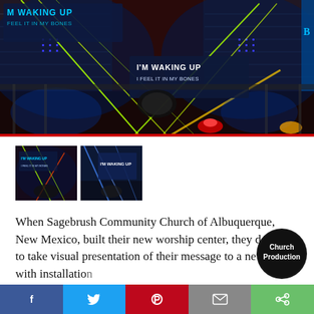[Figure (photo): Concert stage with dramatic colored lighting beams (green, blue, red, yellow), LED panels displaying lyrics 'I'M WAKING UP / FEEL IT IN MY BONES' in blue text on screens, band setup visible, dark atmosphere with theatrical lighting.]
[Figure (photo): Thumbnail 1: Same stage scene with colored lighting and lyric screens, smaller view.]
[Figure (photo): Thumbnail 2: Stage with blue lighting beams and large LED screen showing graphics.]
When Sagebrush Community Church of Albuquerque, New Mexico, built their new worship center, they decided to take visual presentation of their message to a new level with installation high resolution LED vid…
[Figure (logo): Church Production magazine circular logo badge, black circle with white text reading 'Church Production']
Social sharing bar: Facebook, Twitter, Pinterest, Email, Share